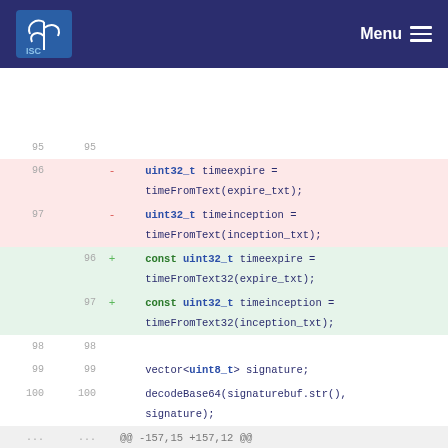ISC Menu
95  95
96  -  uint32_t timeexpire = timeFromText(expire_txt);
97  -  uint32_t timeinception = timeFromText(inception_txt);
    96  +  const uint32_t timeexpire = timeFromText32(expire_txt);
    97  +  const uint32_t timeinception = timeFromText32(inception_txt);
98  98
99  99  vector<uint8_t> signature;
100 100  decodeBase64(signaturebuf.str(), signature);
... ...  @@ -157,15 +157,12 @@ RRSIG::~RRSIG() {
157 157
158 158  string
159 159  RRSIG::toText() const {
160  -  string expire = timeToText(impl ->timeexpire );